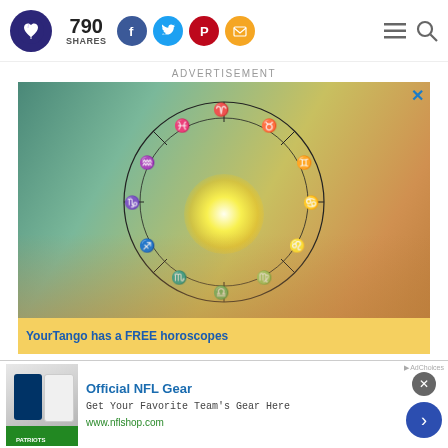YourTango logo, 790 SHARES, social share buttons (Facebook, Twitter, Pinterest, Email), menu and search icons
ADVERTISEMENT
[Figure (illustration): Zodiac horoscope wheel with astrological signs overlaid on hands forming a heart shape with glowing light in background. Advertisement for YourTango free horoscopes.]
YourTango has a FREE horoscopes
[Figure (photo): Secondary advertisement banner: Official NFL Gear - Get Your Favorite Team's Gear Here - www.nflshop.com, with NFL jersey image on left and navigation arrow button on right.]